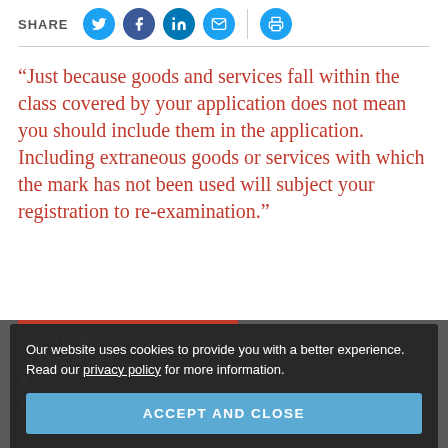SHARE [social icons: Twitter, Facebook, LinkedIn, Email, Print]
“Just because goods and services fall within the class covered by your application does not mean you should include them in the application. Including extraneous goods or services with which the mark has not been used will subject your registration to re-examination.”
Most people as about...
the Consolidated
A...
2020 with its COVID
Our website uses cookies to provide you with a better experience. Read our privacy policy for more information.
[ACCEPT AND CLOSE]